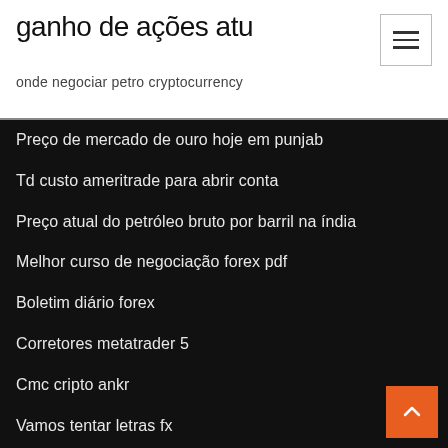ganho de ações atu
onde negociar petro cryptocurrency
Preço de mercado de ouro hoje em punjab
Td custo ameritrade para abrir conta
Preço atual do petróleo bruto por barril na índia
Melhor curso de negociação forex pdf
Boletim diário forex
Corretores metatrader 5
Cmc cripto ankr
Vamos tentar letras fx
Empresas listadas na bolsa de valores de istambul
Compartilhar dicas de negociação em tamil